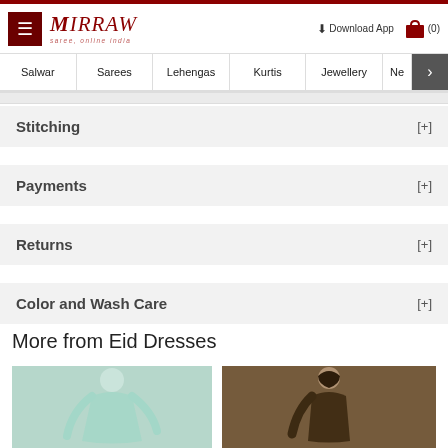Mirraw - saree, online india | Salwar | Sarees | Lehengas | Kurtis | Jewellery | Ne
Stitching [+]
Payments [+]
Returns [+]
Color and Wash Care [+]
More from Eid Dresses
[Figure (photo): Woman in mint/teal outfit]
[Figure (photo): Woman in embroidered dark outfit]